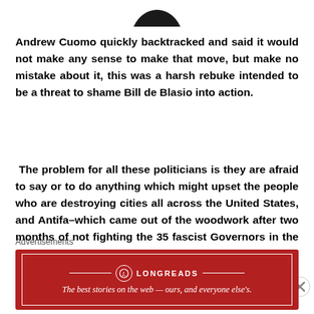[Figure (illustration): Bottom portion of a circular profile photo showing a dark silhouette]
Andrew Cuomo quickly backtracked and said it would not make any sense to make that move, but make no mistake about it, this was a harsh rebuke intended to be a threat to shame Bill de Blasio into action.
The problem for all these politicians is they are afraid to say or to do anything which might upset the people who are destroying cities all across the United States, and Antifa–which came out of the woodwork after two months of not fighting the 35 fascist Governors in the country who put millions of Americans on house arrest and out of work, showing us what their true agenda is
Advertisements
[Figure (logo): Longreads advertisement banner: red background with white border, Longreads logo and tagline 'The best stories on the web — ours, and everyone else's.']